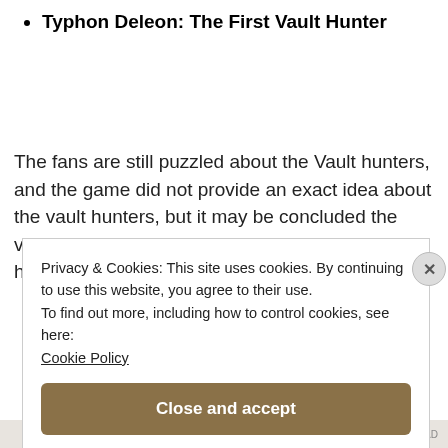Typhon Deleon: The First Vault Hunter
The fans are still puzzled about the Vault hunters, and the game did not provide an exact idea about the vault hunters, but it may be concluded the vault could be a vast open area where no one has ever ventured. The
Privacy & Cookies: This site uses cookies. By continuing to use this website, you agree to their use.
To find out more, including how to control cookies, see here:
Cookie Policy
Close and accept